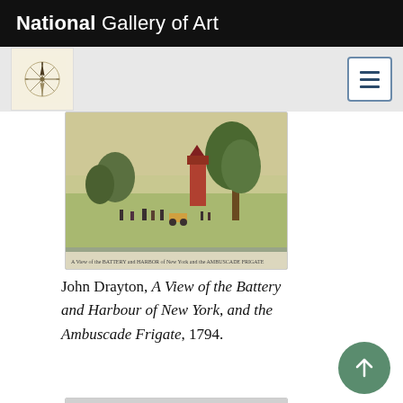National Gallery of Art
[Figure (illustration): Compass/star logo icon for the National Gallery of Art app navigation]
[Figure (photo): Painting: A View of the Battery and Harbour of New York, and the Ambuscade Frigate, 1794, by John Drayton. Shows a watercolor scene with figures, trees, and a red tower.]
John Drayton, A View of the Battery and Harbour of New York, and the Ambuscade Frigate, 1794.
[Figure (photo): Partial view of a second artwork card — black and white landscape with trees.]